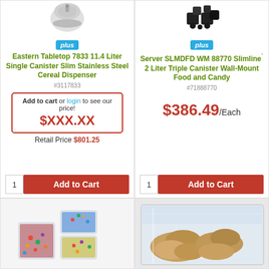[Figure (photo): Eastern Tabletop 7833 stainless steel single canister cereal dispenser product photo]
plus
Eastern Tabletop 7833 11.4 Liter Single Canister Slim Stainless Steel Cereal Dispenser
#3117833
Add to cart or login to see our price! $XXX.XX
Retail Price $801.25
1  Add to Cart
[Figure (photo): Server SLMDFD WM 88770 triple canister wall-mount food and candy dispenser product photo]
plus
Server SLMDFD WM 88770 Slimline` 2 Liter Triple Canister Wall-Mount Food and Candy
#71888770
$386.49/Each
1  Add to Cart
[Figure (photo): Clear acrylic multi-compartment candy/bulk food dispenser with colorful candies inside]
[Figure (photo): Clear acrylic display/food case with baked goods inside]